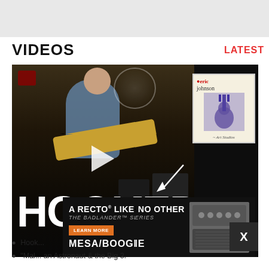VIDEOS
LATEST
[Figure (screenshot): Video thumbnail showing a guitarist playing in a studio with amplifiers, overlaid with a play button, album art for Eric Johnson, 'Hooked' text, and a Mesa/Boogie Badlander advertisement]
Hook...
"Mal... Astronaut & the Big 3."